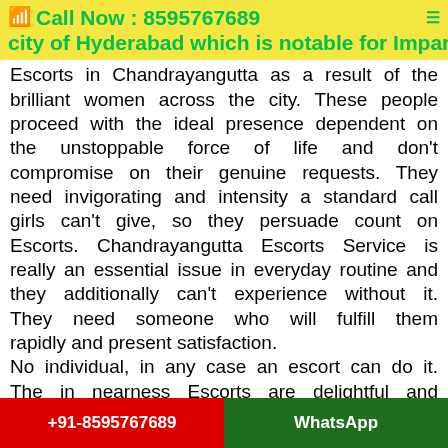Call Now : 8595767689 friendly and unimaginable city of Hyderabad which is notable for Impartial
Escorts in Chandrayangutta as a result of the brilliant women across the city. These people proceed with the ideal presence dependent on the unstoppable force of life and don't compromise on their genuine requests. They need invigorating and intensity a standard call girls can't give, so they persuade count on Escorts. Chandrayangutta Escorts Service is really an essential issue in everyday routine and they additionally can't experience without it. They need someone who will fulfill them rapidly and present satisfaction.
No individual, in any case an escort can do it. The in nearness Escorts are delightful and loaded down with bliss. They give incredible
+91-8595767689 | WhatsApp